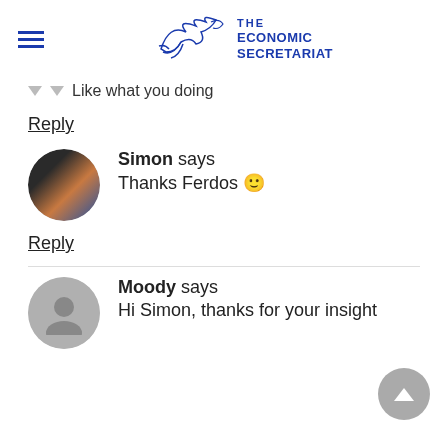THE ECONOMIC SECRETARIAT
Like what you doing
Reply
Simon says
Thanks Ferdos 🙂
Reply
Moody says
Hi Simon, thanks for your insight